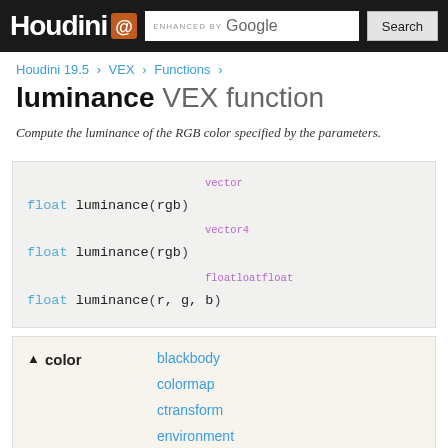Houdini — ENHANCED BY Google — Search
Houdini 19.5 > VEX > Functions >
luminance VEX function
Compute the luminance of the RGB color specified by the parameters.
[Figure (other): Code block showing three function signatures: float luminance(rgb) with vector type hint, float luminance(rgb) with vector4 type hint, float luminance(r, g, b) with float float float type hints]
color — blackbody, colormap, ctransform, environment